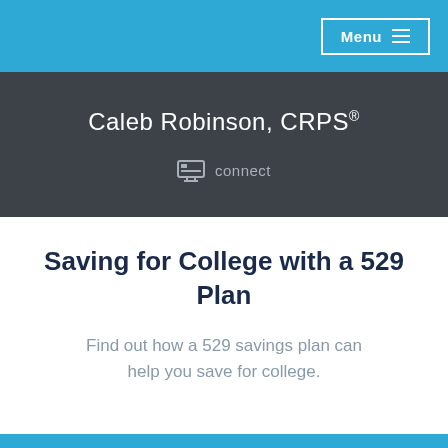Menu
Caleb Robinson, CRPS®
connect
Saving for College with a 529 Plan
Find out how a 529 savings plan can help you save for college.